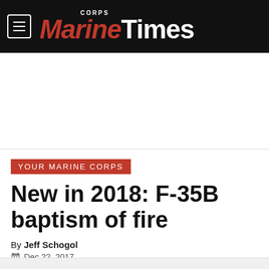Marine Corps Times
[Figure (other): Advertisement banner area]
Your Marine Corps
New in 2018: F-35B baptism of fire
By Jeff Schogol
Dec 22, 2017
[Figure (other): Social sharing icons: Facebook, Twitter, Reddit, LinkedIn, Link, Email]